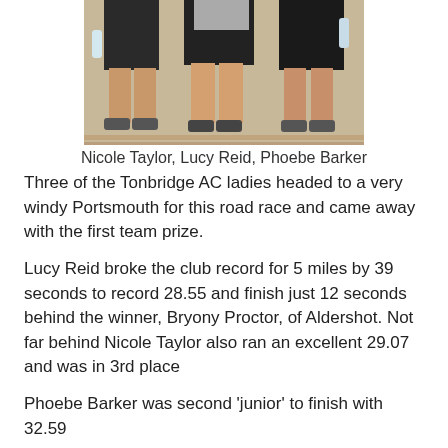[Figure (photo): Photo of three female runners (Nicole Taylor, Lucy Reid, Phoebe Barker) on a running track, cropped to show legs and lower torsos]
Nicole Taylor, Lucy Reid, Phoebe Barker
Three of the Tonbridge AC ladies headed to a very windy Portsmouth for this road race and came away with the first team prize.
Lucy Reid broke the club record for 5 miles by 39 seconds to record 28.55 and finish just 12 seconds behind the winner, Bryony Proctor, of Aldershot. Not far behind Nicole Taylor also ran an excellent 29.07 and was in 3rd place
Phoebe Barker was second 'junior' to finish with 32.59
Full results are at -
https://www.fullonsport.com/event/victory52015/leaderboard
Other Saturday news, 5th December